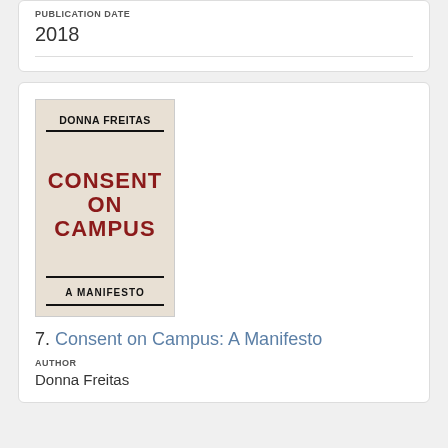PUBLICATION DATE
2018
[Figure (photo): Book cover of 'Consent on Campus: A Manifesto' by Donna Freitas. Cream/beige background with bold black text for author name and subtitle, large dark red/maroon text for main title.]
7. Consent on Campus: A Manifesto
AUTHOR
Donna Freitas